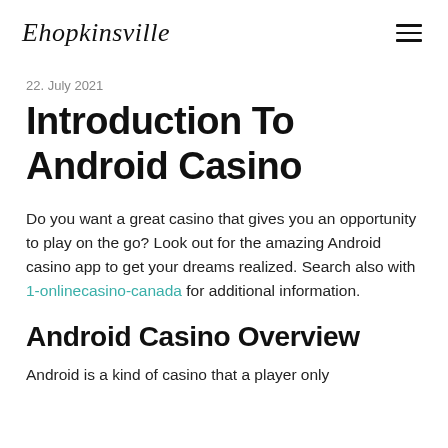Ehopkinsville
22. July 2021
Introduction To Android Casino
Do you want a great casino that gives you an opportunity to play on the go? Look out for the amazing Android casino app to get your dreams realized. Search also with 1-onlinecasino-canada for additional information.
Android Casino Overview
Android is a kind of casino that a player only